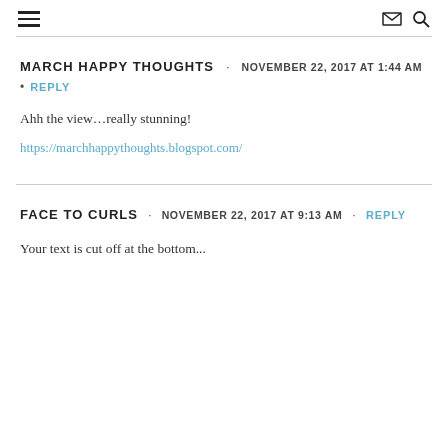navigation header with hamburger menu, envelope icon, search icon
MARCH HAPPY THOUGHTS · NOVEMBER 22, 2017 AT 1:44 AM
• REPLY
Ahh the view…really stunning!
https://marchhappythoughts.blogspot.com/
FACE TO CURLS · NOVEMBER 22, 2017 AT 9:13 AM · REPLY
Your text is cut off at the bottom of the page